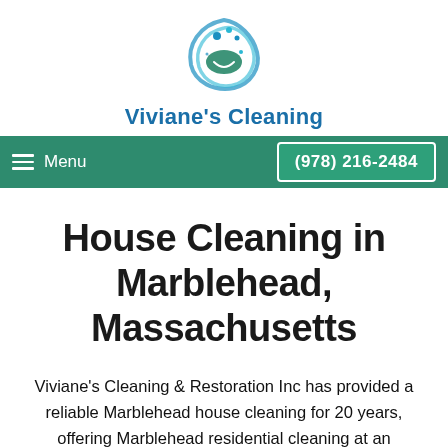[Figure (logo): Viviane's Cleaning logo: circular water splash with green leaf and blue droplets, in teal and blue tones]
Viviane's Cleaning
Menu  (978) 216-2484
House Cleaning in Marblehead, Massachusetts
Viviane's Cleaning & Restoration Inc has provided a reliable Marblehead house cleaning for 20 years, offering Marblehead residential cleaning at an affordable price. Treat yourself and check one more thing off of your “to do” list! Let Viviane’s Cleaning & Restoration Inc be your Marblehead house cleaning service in the comfort of mind